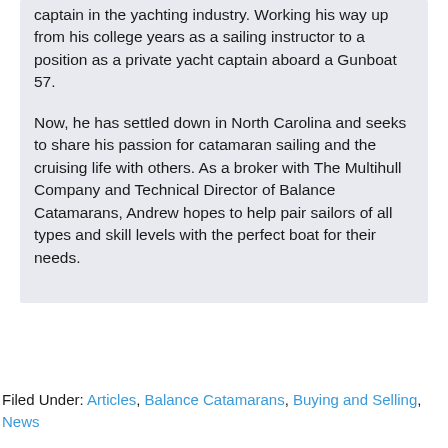captain in the yachting industry.  Working his way up from his college years as a sailing instructor to a position as a private yacht captain aboard a Gunboat 57.
Now, he has settled down in North Carolina and seeks to share his passion for catamaran sailing and the cruising life with others. As a broker with The Multihull Company and Technical Director of Balance Catamarans, Andrew hopes to help pair sailors of all types and skill levels with the perfect boat for their needs.
Filed Under: Articles, Balance Catamarans, Buying and Selling, News